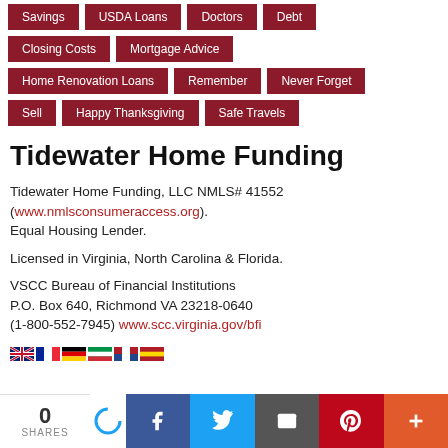Savings
USDA Loans
Doctors
Debt
Closing Costs
Mortgage Advice
Home Renovation Loans
Remember
Never Forget
Sell
Happy Thanksgiving
Safe Travels
Tidewater Home Funding
Tidewater Home Funding, LLC NMLS# 41552 (www.nmlsconsumeraccess.org). Equal Housing Lender.
Licensed in Virginia, North Carolina & Florida.
VSCC Bureau of Financial Institutions P.O. Box 640, Richmond VA 23218-0640 (1-800-552-7945) www.scc.virginia.gov/bfi
0 SHARES